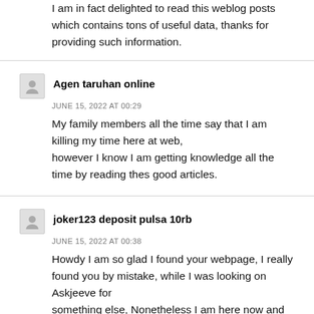I am in fact delighted to read this weblog posts which contains tons of useful data, thanks for providing such information.
Agen taruhan online
JUNE 15, 2022 AT 00:29
My family members all the time say that I am killing my time here at web,
however I know I am getting knowledge all the time by reading thes good articles.
joker123 deposit pulsa 10rb
JUNE 15, 2022 AT 00:38
Howdy I am so glad I found your webpage, I really found you by mistake, while I was looking on Askjeeve for
something else, Nonetheless I am here now and would